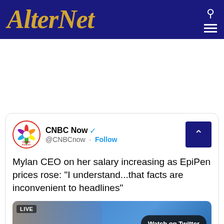AlterNet
[Figure (screenshot): CNBC Now tweet screenshot: '@CNBCnow · Follow' with verified badge. Tweet text: 'Mylan CEO on her salary increasing as EpiPen prices rose: "I understand...that facts are inconvenient to headlines"'. Includes a live video thumbnail with 'Watch on Twitter' button.]